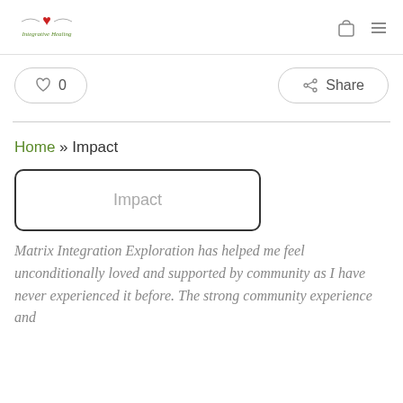Integrative Healing
♡ 0   Share
Home » Impact
Impact
Matrix Integration Exploration has helped me feel unconditionally loved and supported by community as I have never experienced it before. The strong community experience and